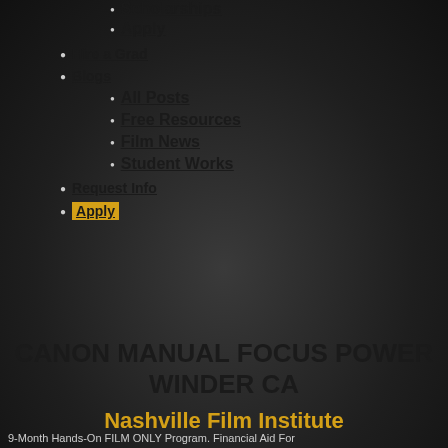Scholarships
Apply
Hire a Grad
Blogs
All Posts
Free Resources
Film News
Student Works
Request Info
Apply
CANON MANUAL FOCUS POWER WINDER CA
Nashville Film Institute
9-Month Hands-On FILM ONLY Program. Financial Aid For